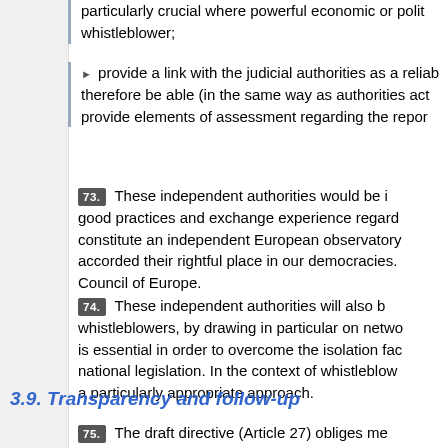particularly crucial where powerful economic or political interests are involved and there is a risk of retaliation against the whistleblower;
provide a link with the judicial authorities as a reliable intermediary and therefore be able (in the same way as authorities acting in good faith) to provide elements of assessment regarding the report;
73.   These independent authorities would be in a position to share good practices and exchange experience regarding whistleblowing and constitute an independent European observatory, so that whistleblowers are accorded their rightful place in our democracies. This could be done jointly with the Council of Europe.
74.   These independent authorities will also be able to better support whistleblowers, by drawing in particular on networks of lawyers and NGOs, which is essential in order to overcome the isolation faced by whistleblowers subject to national legislation. In the context of whistleblowing, a European network could be a particularly appropriate approach.
3.9. Transparency and follow-up
75.   The draft directive (Article 27) obliges member states to ensure that national laws should clarify that information should also be easily accessible to reach decisions, outcomes (cases use are...